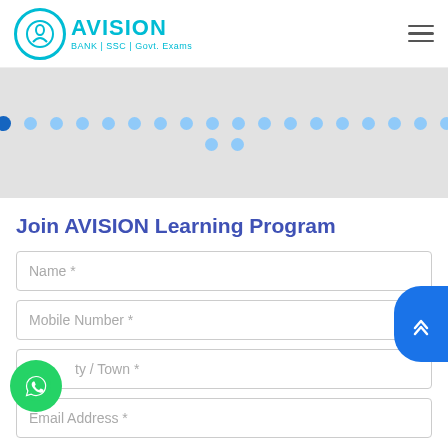AVISION — BANK | SSC | Govt. Exams
[Figure (other): Pagination dots row — 1 dark blue active dot followed by 18 light blue dots in two rows]
Join AVISION Learning Program
Name *
Mobile Number *
City / Town *
Email Address *